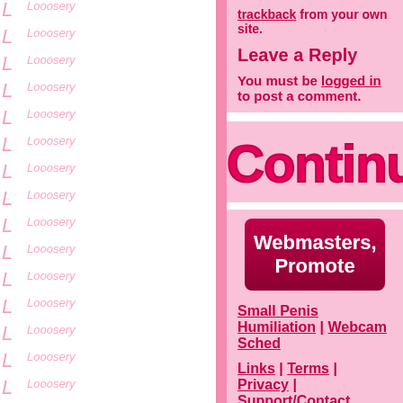trackback from your own site.
Leave a Reply
You must be logged in to post a comment.
[Figure (illustration): Bubble/glossy pink text reading 'Continu' (Continue, partially visible/cropped)]
Webmasters, Promote
Small Penis Humiliation | Webcam Sched...
Links | Terms | Privacy | Support/Contact
All persons depicted herein were at least 18 U.S.C. 2257 Record-Keeping Require...
We know you're jerking off, Loser!